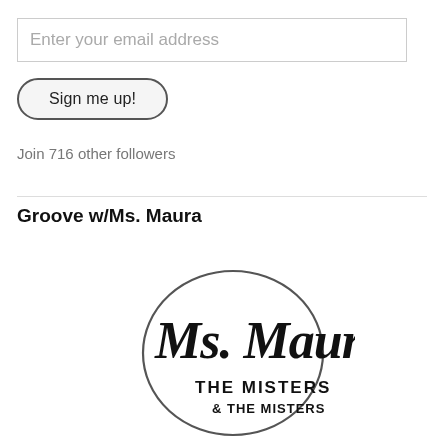Enter your email address
Sign me up!
Join 716 other followers
Groove w/Ms. Maura
[Figure (logo): Ms. Maura & The Misters logo — script text 'Ms. Maura' with a circle outline and 'THE MISTERS' and '& THE MISTERS' text in block lettering below]